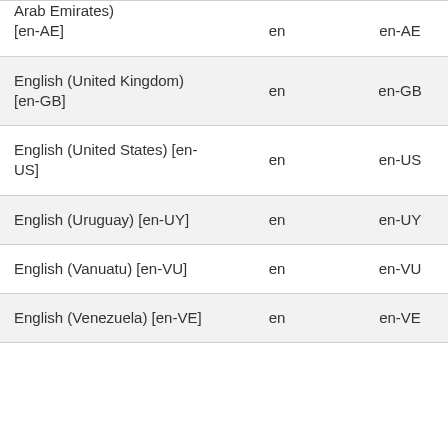| English (United Arab Emirates) [en-AE] | en | en-AE | Yes |
| English (United Kingdom) [en-GB] | en | en-GB | Yes |
| English (United States) [en-US] | en | en-US | Yes |
| English (Uruguay) [en-UY] | en | en-UY | Yes |
| English (Vanuatu) [en-VU] | en | en-VU | Yes |
| English (Venezuela) [en-VE] | en | en-VE | Yes |